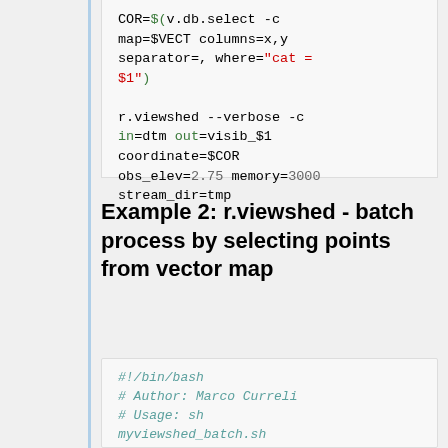[Figure (screenshot): Code block showing shell script with COR=$(v.db.select -c map=$VECT columns=x,y separator=, where="cat = $1") and r.viewshed --verbose -c in=dtm out=visib_$1 coordinate=$COR obs_elev=2.75 memory=3000 stream_dir=tmp]
Example 2: r.viewshed - batch process by selecting points from vector map
[Figure (screenshot): Code block showing bash script header: #!/bin/bash # Author: Marco Curreli # Usage: sh myviewshed_batch.sh cat1,cat2[,cat3,...] [cat3..catN] # "cat" is the category of]